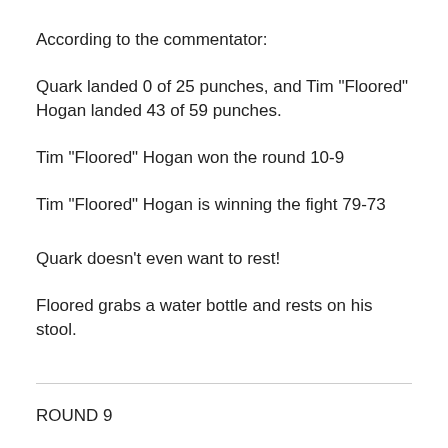According to the commentator:
Quark landed 0 of 25 punches, and Tim "Floored" Hogan landed 43 of 59 punches.
Tim "Floored" Hogan won the round 10-9
Tim "Floored" Hogan is winning the fight 79-73
Quark doesn't even want to rest!
Floored grabs a water bottle and rests on his stool.
ROUND 9